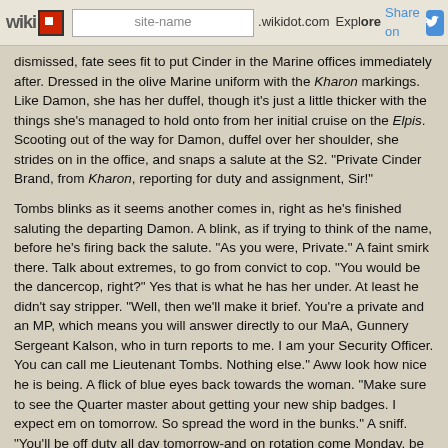wikidot | site-name .wikidot.com | Explore | Share on
dismissed, fate sees fit to put Cinder in the Marine offices immediately after. Dressed in the olive Marine uniform with the Kharon markings. Like Damon, she has her duffel, though it's just a little thicker with the things she's managed to hold onto from her initial cruise on the Elpis. Scooting out of the way for Damon, duffel over her shoulder, she strides on in the office, and snaps a salute at the S2. "Private Cinder Brand, from Kharon, reporting for duty and assignment, Sir!"
Tombs blinks as it seems another comes in, right as he's finished saluting the departing Damon. A blink, as if trying to think of the name, before he's firing back the salute. "As you were, Private." A faint smirk there. Talk about extremes, to go from convict to cop. "You would be the dancercop, right?" Yes that is what he has her under. At least he didn't say stripper. "Well, then we'll make it brief. You're a private and an MP, which means you will answer directly to our MaA, Gunnery Sergeant Kalson, who in turn reports to me. I am your Security Officer. You can call me Lieutenant Tombs. Nothing else." Aww look how nice he is being. A flick of blue eyes back towards the woman. "Make sure to see the Quarter master about getting your new ship badges. I expect em on tomorrow. So spread the word in the bunks." A sniff. "You'll be off duty all day tomorrow-and on rotation come Monday. be sure to check with Kalson for your duty rotation. I assume I don't have to baby your ass and teach you sentry law, or shit like that?"
"Yes, that's me!" she replies, rather chipper. "Well…Sir, uh Lieutenant Tombs, I haven't had any disciplinary reports or anything like that filed against me on Kharon, if that's what you mean. I'm still learning, to a degree. Only seen action three or four times, but run patrol, SecHub,